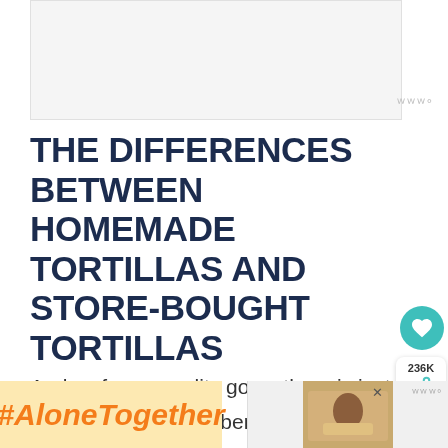[Figure (other): Advertisement banner placeholder, light gray background]
THE DIFFERENCES BETWEEN HOMEMADE TORTILLAS AND STORE-BOUGHT TORTILLAS
And as far as quality goes, there is just no comparison with store-bought tortillas. When store-bought are rubbery and dry, the homemade version yields soft and airy, pliable tortillas.
[Figure (other): Social sharing overlay: heart icon button (teal circle), share button with 236K count, and WHAT'S NEXT panel showing Homemade Chocolate... next article with thumbnail]
[Figure (other): Bottom advertisement: #AloneTogether text on yellow-orange background on left; photo of woman cooking on right with close button]